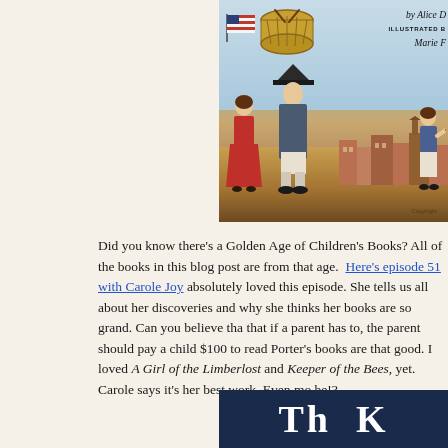[Figure (illustration): Book cover of a children's book illustrated with colonial-era figures: a tall figure with a drum and American flag, a girl in red dress, and a boy, set against a colonial town background. Text reads 'by Alice D' and 'ILLUSTRATED [by] Marie [...]']
Did you know there's a Golden Age of Children's Books? All of the books in this blog post are from that age.  Here's episode 51 with Carole Joy [...] absolutely loved this episode. She tells us all about her discoveries and why she thinks her books are so grand. Can you believe that if a parent has to, the parent should pay a child $100 to read Porter's books are that good. I loved A Girl of the Limberlost and Keeper of the Bees, yet. Carole says it's her best work. Even more be!?
[Figure (illustration): Bottom portion of a book cover with dark navy blue background and large white serif letters showing the beginning of a title.]